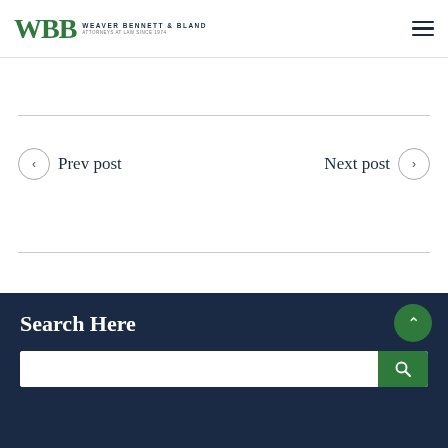[Figure (logo): WBB Weaver Bennett & Bland law firm logo with green serif letters and firm name]
Prev post
Next post
Search Here